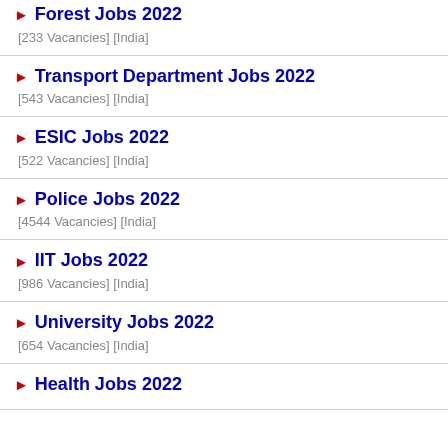Forest Jobs 2022 [233 Vacancies] [India]
Transport Department Jobs 2022 [543 Vacancies] [India]
ESIC Jobs 2022 [522 Vacancies] [India]
Police Jobs 2022 [4544 Vacancies] [India]
IIT Jobs 2022 [986 Vacancies] [India]
University Jobs 2022 [654 Vacancies] [India]
Health Jobs 2022